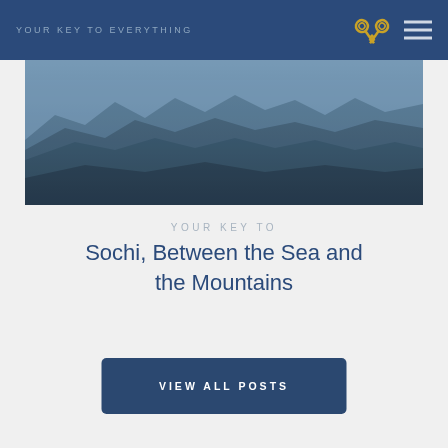YOUR KEY TO EVERYTHING
[Figure (photo): Misty blue mountain landscape with layered rolling hills fading into haze]
YOUR KEY TO
Sochi, Between the Sea and the Mountains
VIEW ALL POSTS